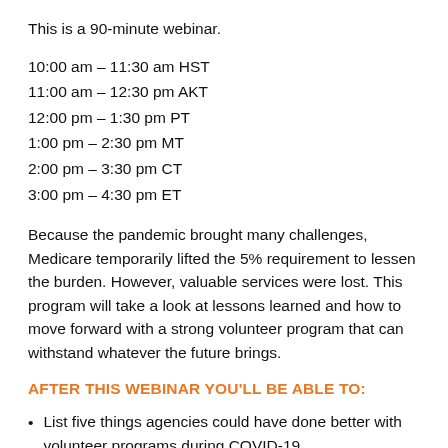This is a 90-minute webinar.
10:00 am – 11:30 am HST
11:00 am – 12:30 pm AKT
12:00 pm – 1:30 pm PT
1:00 pm – 2:30 pm MT
2:00 pm – 3:30 pm CT
3:00 pm – 4:30 pm ET
Because the pandemic brought many challenges, Medicare temporarily lifted the 5% requirement to lessen the burden. However, valuable services were lost. This program will take a look at lessons learned and how to move forward with a strong volunteer program that can withstand whatever the future brings.
AFTER THIS WEBINAR YOU'LL BE ABLE TO:
List five things agencies could have done better with volunteer programs during COVID-19